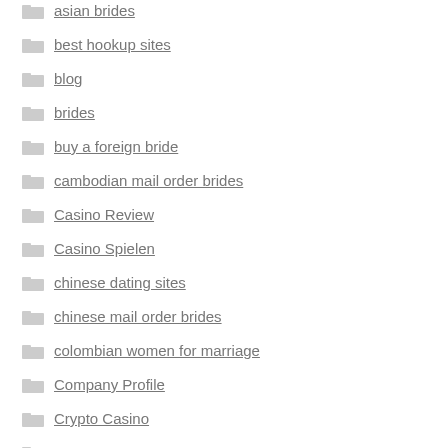asian brides
best hookup sites
blog
brides
buy a foreign bride
cambodian mail order brides
Casino Review
Casino Spielen
chinese dating sites
chinese mail order brides
colombian women for marriage
Company Profile
Crypto Casino
Crypto News